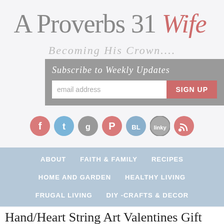A Proverbs 31 Wife
Becoming His Crown...
Subscribe to Weekly Updates
[Figure (screenshot): Email subscription form with email address input field and a coral/red SIGN UP button]
[Figure (infographic): Row of social media icon circles: Facebook (coral), Twitter (blue), Google+ (gray), Pinterest (coral), BlogLovin (blue), Linky (gray), RSS (coral)]
ABOUT     FAITH & FAMILY     RECIPES
HOME AND GARDEN     HEALTHY LIVING
FRUGAL LIVING     DIY -CRAFTS & DECOR
Hand/Heart String Art Valentines Gift